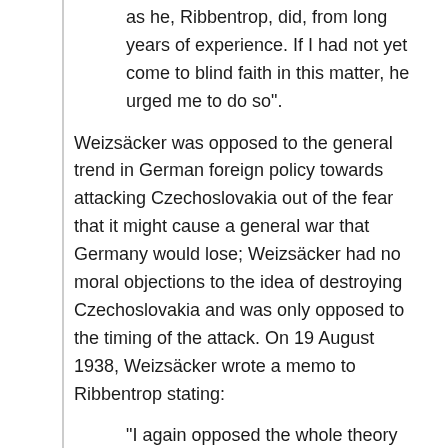as he, Ribbentrop, did, from long years of experience. If I had not yet come to blind faith in this matter, he urged me to do so".
Weizsäcker was opposed to the general trend in German foreign policy towards attacking Czechoslovakia out of the fear that it might cause a general war that Germany would lose; Weizsäcker had no moral objections to the idea of destroying Czechoslovakia and was only opposed to the timing of the attack. On 19 August 1938, Weizsäcker wrote a memo to Ribbentrop stating:
"I again opposed the whole theory of (an attack on Czechoslovakia) and observed that we should have to wait political developments til the English